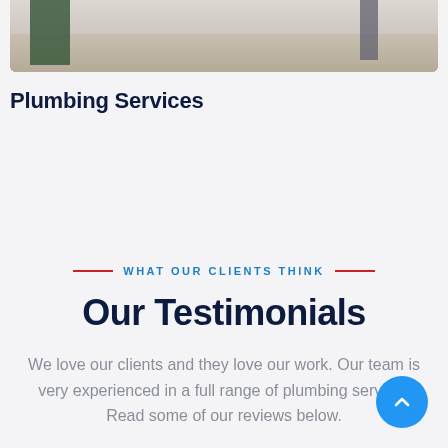[Figure (photo): Interior photo showing a hallway or kitchen area with wood-look flooring and dark green cabinetry, partially visible at top of page.]
Plumbing Services
WHAT OUR CLIENTS THINK
Our Testimonials
We love our clients and they love our work. Our team is very experienced in a full range of plumbing servic… Read some of our reviews below.